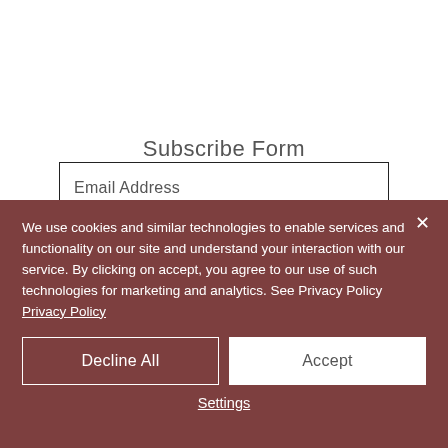Subscribe Form
Email Address
We use cookies and similar technologies to enable services and functionality on our site and understand your interaction with our service. By clicking on accept, you agree to our use of such technologies for marketing and analytics. See Privacy Policy Privacy Policy
Decline All
Accept
Settings